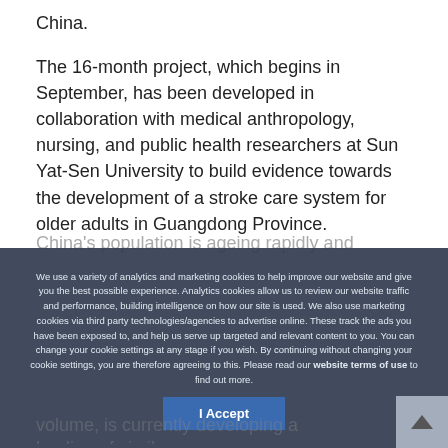China.
The 16-month project, which begins in September, has been developed in collaboration with medical anthropology, nursing, and public health researchers at Sun Yat-Sen University to build evidence towards the development of a stroke care system for older adults in Guangdong Province.
China's population is ageing rapidly and approximately half
We use a variety of analytics and marketing cookies to help improve our website and give you the best possible experience. Analytics cookies allow us to review our website traffic and performance, building intelligence on how our site is used. We also use marketing cookies via third party technologies/agencies to advertise online. These track the ads you have been exposed to, and help us serve up targeted and relevant content to you. You can change your cookie settings at any stage if you wish. By continuing without changing your cookie settings, you are therefore agreeing to this. Please read our website terms of use to find out more.
I Accept